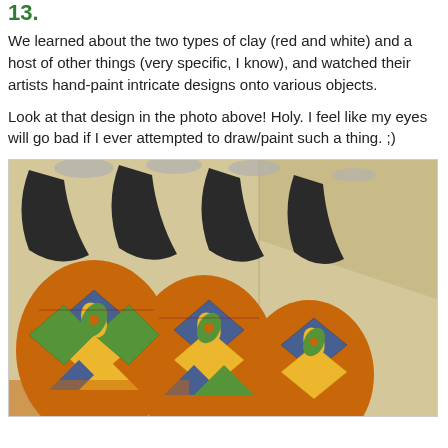13.
We learned about the two types of clay (red and white) and a host of other things (very specific, I know), and watched their artists hand-paint intricate designs onto various objects.
Look at that design in the photo above! Holy. I feel like my eyes will go bad if I ever attempted to draw/paint such a thing. ;)
[Figure (photo): Photograph of several large clay pots/amphoras with intricate hand-painted colorful geometric and floral designs in blue, orange, yellow and green. The pots have dark handles visible at the top, photographed from below against a light beige wall/ceiling corner.]